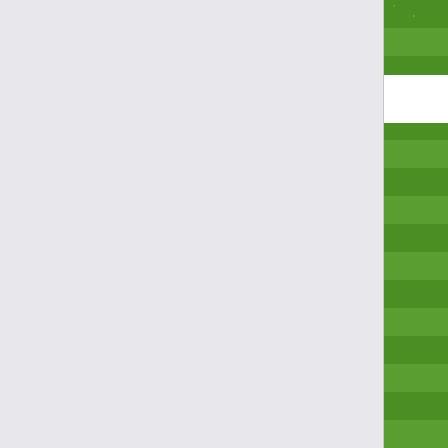[Figure (screenshot): Top portion of a retro pixel-art soccer video game screenshot showing green striped field with goal visible, score display: POL 01-00 RUS 01:35, player name MATYSEK]
[Figure (screenshot): Middle retro pixel-art soccer video game screenshot showing green striped field with two players near ball, score display: POL 01-00 RUS 01:25, player name CZERESZEWK]
[Figure (screenshot): Bottom retro pixel-art soccer video game screenshot showing green striped field with multiple players clustered around ball, partial view]